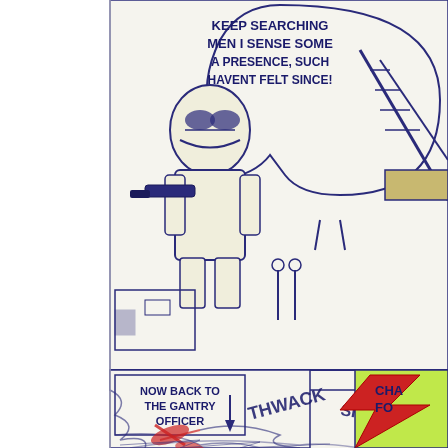[Figure (illustration): Hand-drawn ballpoint pen comic strip on notebook paper showing Star Wars-inspired scenes. Top panel: A stormtrooper figure holding a gun with a speech bubble reading 'KEEP SEARCHING MEN I SENSE SOME A PRESENCE, SUCH HAVENT FELT SINCE!' Next to him is a round droid/camera character and a gantry structure in the background with small figures. Bottom panel: Caption box reading 'NOW BACK TO THE GANTRY OFFICER' with action scene below showing characters fighting with slash marks labeled 'THWACK' and 'SHAT'. Right side has a green and red colored panel with 'CHA' and 'FO' text fragments. Red splashes of color and heavy blue pen scribbling in the lower portion indicating action/chaos.]